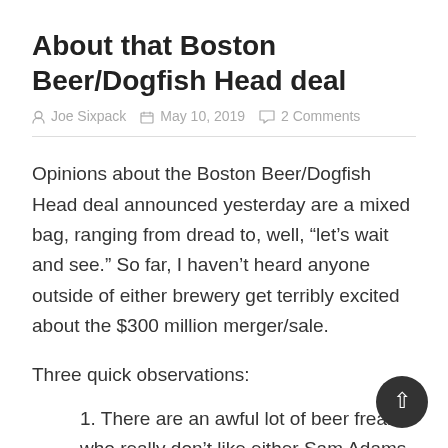About that Boston Beer/Dogfish Head deal
Joe Sixpack  May 10, 2019  2 Comments
Opinions about the Boston Beer/Dogfish Head deal announced yesterday are a mixed bag, ranging from dread to, well, “let’s wait and see.” So far, I haven’t heard anyone outside of either brewery get terribly excited about the $300 million merger/sale.
Three quick observations:
1. There are an awful lot of beer freaks who really don’t like either Sam Adams or … Read the rest